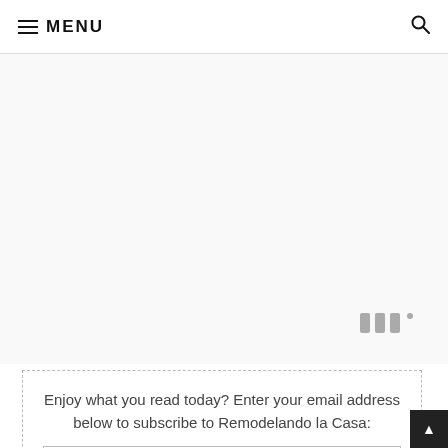≡ MENU
[Figure (other): Large blank/gray content area with a small watermark logo in the lower right corner showing stylized triple bars with a degree symbol]
Enjoy what you read today? Enter your email address below to subscribe to Remodelando la Casa: